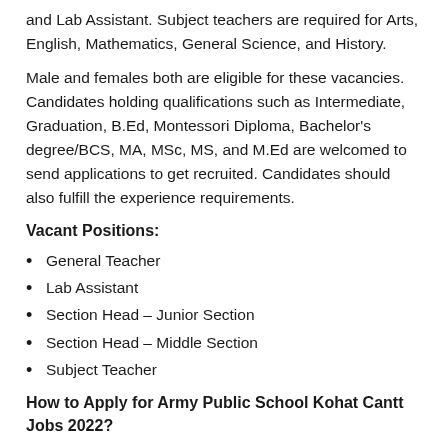and Lab Assistant. Subject teachers are required for Arts, English, Mathematics, General Science, and History.
Male and females both are eligible for these vacancies. Candidates holding qualifications such as Intermediate, Graduation, B.Ed, Montessori Diploma, Bachelor's degree/BCS, MA, MSc, MS, and M.Ed are welcomed to send applications to get recruited. Candidates should also fulfill the experience requirements.
Vacant Positions:
General Teacher
Lab Assistant
Section Head – Junior Section
Section Head – Middle Section
Subject Teacher
How to Apply for Army Public School Kohat Cantt Jobs 2022?
Candidates can forward their CVs to the Principal, Army